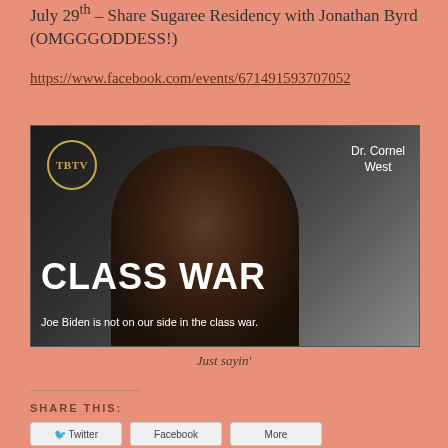July 29th – Share Sugaree Residency with Jonathan Byrd (OMGGGODDESS!)
https://www.facebook.com/events/671491593707052
[Figure (photo): Photo of Dr. Cornel West with TBTV logo overlay. Large text reads CLASS WAR. Subtitle: Joe Biden is not on our side in the class war.]
Just sayin'
SHARE THIS:
Twitter   Facebook   More